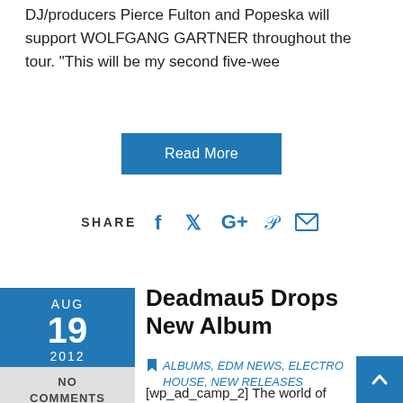DJ/producers Pierce Fulton and Popeska will support WOLFGANG GARTNER throughout the tour. "This will be my second five-wee
Read More
SHARE
Deadmau5 Drops New Album
AUG 19 2012
NO COMMENTS
ALBUMS, EDM NEWS, ELECTRO HOUSE, NEW RELEASES
[wp_ad_camp_2] The world of deadmau5—world-renowned electronic artist—is always fast and furious. He recently overhauled his